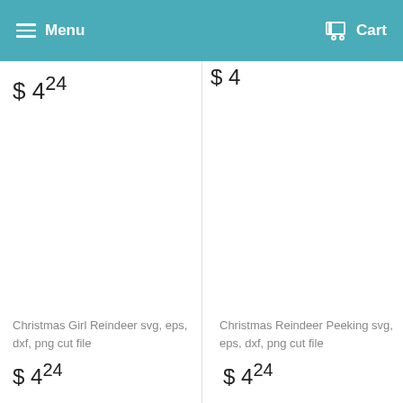Menu  Cart
$ 4 24
$ 4
Christmas Girl Reindeer svg, eps, dxf, png cut file
$ 4 24
Christmas Reindeer Peeking svg, eps, dxf, png cut file
$ 4 24